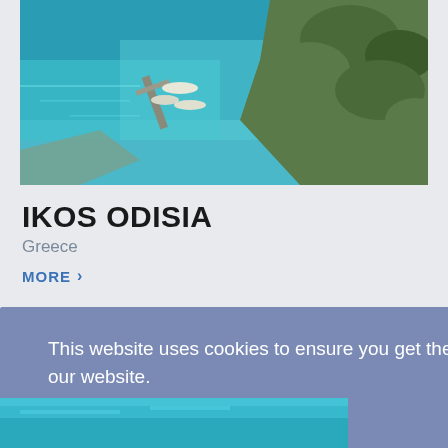[Figure (photo): Aerial view of a coastal resort with turquoise water, boats moored near a jetty, and lush green trees on rocky coastline]
IKOS ODISIA
Greece
MORE  ›
This website uses cookies to ensure you get the best experience on our website.
Learn more
Got it!
[Figure (photo): Partial view of a blue background with °C text visible, part of a partially visible next card on the right side]
[Figure (photo): Partial view of a resort pool with turquoise water and palm trees at the bottom of the page]